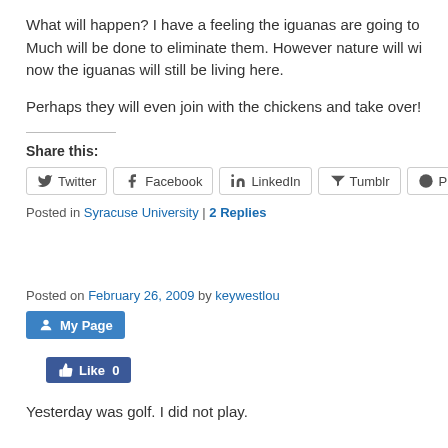What will happen? I have a feeling the iguanas are going to... Much will be done to eliminate them. However nature will wi... now the iguanas will still be living here.
Perhaps they will even join with the chickens and take over!
Share this:
Twitter | Facebook | LinkedIn | Tumblr | Pinterest
Posted in Syracuse University | 2 Replies
Posted on February 26, 2009 by keywestlou
My Page
Like 0
Yesterday was golf. I did not play.